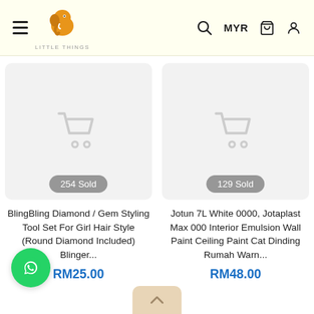[Figure (screenshot): E-commerce website header with hamburger menu, Little Things elephant logo, search icon, MYR currency selector, cart icon, and user icon on a cream/ivory background]
[Figure (photo): Product image placeholder for BlingBling Diamond / Gem Styling Tool Set - grey box with a shopping cart icon and '254 Sold' badge]
BlingBling Diamond / Gem Styling Tool Set For Girl Hair Style (Round Diamond Included) Blinger...
RM25.00
[Figure (photo): Product image placeholder for Jotun 7L White 0000 Jotaplast Max - grey box with a shopping cart icon and '129 Sold' badge]
Jotun 7L White 0000, Jotaplast Max 000 Interior Emulsion Wall Paint Ceiling Paint Cat Dinding Rumah Warn...
RM48.00